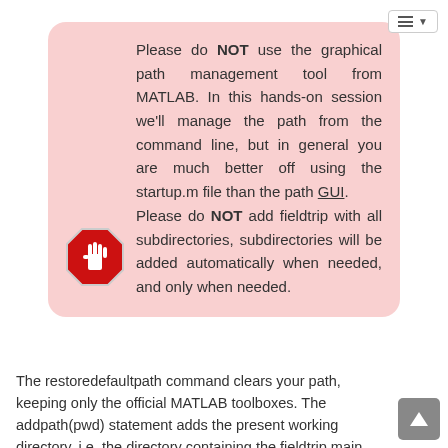[Figure (screenshot): Pink rounded box with stop-sign icon and warning text about not using the graphical path management tool from MATLAB and not adding fieldtrip with all subdirectories.]
The restoredefaultpath command clears your path, keeping only the official MATLAB toolboxes. The addpath(pwd) statement adds the present working directory, i.e. the directory containing the fieldtrip main functions. The ft_defaults command ensures that all required subdirectories are added to the path.